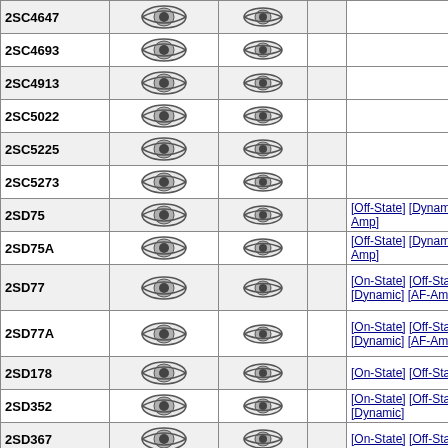| Part | Icon1 | Icon2 | Extra | Links |
| --- | --- | --- | --- | --- |
| 2SC4647 | [eye] | [eye] |  |  |
| 2SC4693 | [eye] | [eye] |  |  |
| 2SC4913 | [eye] | [eye] |  |  |
| 2SC5022 | [eye] | [eye] |  |  |
| 2SC5225 | [eye] | [eye] |  |  |
| 2SC5273 | [eye] | [eye] |  |  |
| 2SD75 | [eye] | [eye] |  | [Off-State] [Dynamic] [AF-Amp] |
| 2SD75A | [eye] | [eye] |  | [Off-State] [Dynamic] [AF-Amp] |
| 2SD77 | [eye] | [eye] |  | [On-State] [Off-State] [Dynamic] [AF-Amp] |
| 2SD77A | [eye] | [eye] |  | [On-State] [Off-State] [Dynamic] [AF-Amp] |
| 2SD178 | [eye] | [eye] |  | [On-State] [Off-State] |
| 2SD352 | [eye] | [eye] |  | [On-State] [Off-State] [Dynamic] |
| 2SD367 | [eye] | [eye] |  | [On-State] [Off-State] |
| 2SD414 | [eye] | [eye] |  |  |
| 2SD415 | [eye] | [eye] |  |  |
| 2SD476K | [eye] | [eye] |  |  |
| 2SD476KA | [eye] | [eye] |  |  |
| 2SD523 | [eye] | [eye] |  |  |
| 2SD524 | [eye] | [eye] |  |  |
|  | [eye] | [eye] |  |  |